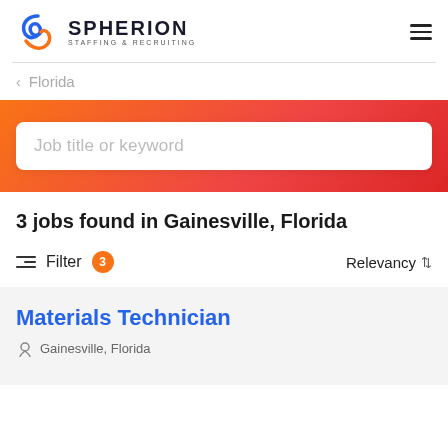[Figure (logo): Spherion Staffing & Recruiting logo with blue/orange S icon]
‹ Florida
[Figure (screenshot): Search input field with placeholder text 'Job title or keyword' on orange/red gradient background]
3 jobs found in Gainesville, Florida
Filter 3  Relevancy
Materials Technician
Gainesville, Florida